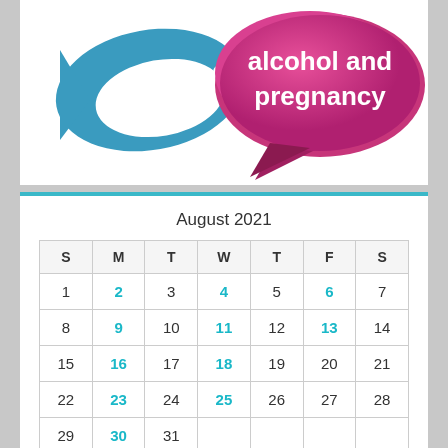[Figure (illustration): Illustration showing speech bubbles with text 'alcohol and pregnancy' in pink/magenta bubble, with a blue bird/fish shape on the left, on a white background. Part of a health awareness campaign graphic.]
August 2021
| S | M | T | W | T | F | S |
| --- | --- | --- | --- | --- | --- | --- |
| 1 | 2 | 3 | 4 | 5 | 6 | 7 |
| 8 | 9 | 10 | 11 | 12 | 13 | 14 |
| 15 | 16 | 17 | 18 | 19 | 20 | 21 |
| 22 | 23 | 24 | 25 | 26 | 27 | 28 |
| 29 | 30 | 31 |  |  |  |  |
« Jul   Sep »